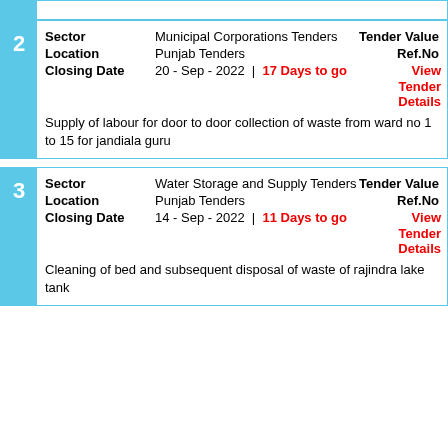| # | Field | Value | Right |
| --- | --- | --- | --- |
| 2 | Sector | Municipal Corporations Tenders | Tender Value |
| 2 | Location | Punjab Tenders | Ref.No |
| 2 | Closing Date | 20 - Sep - 2022  |  17 Days to go | View Tender Details |
| 2 | Description | Supply of labour for door to door collection of waste from ward no 1 to 15 for jandiala guru |  |
| # | Field | Value | Right |
| --- | --- | --- | --- |
| 3 | Sector | Water Storage and Supply Tenders | Tender Value |
| 3 | Location | Punjab Tenders | Ref.No |
| 3 | Closing Date | 14 - Sep - 2022  |  11 Days to go | View Tender Details |
| 3 | Description | Cleaning of bed and subsequent disposal of waste of rajindra lake tank |  |